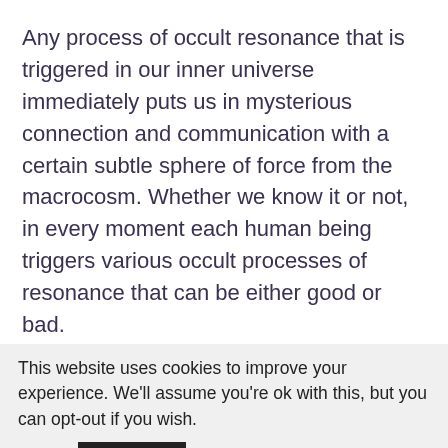Any process of occult resonance that is triggered in our inner universe immediately puts us in mysterious connection and communication with a certain subtle sphere of force from the macrocosm. Whether we know it or not, in every moment each human being triggers various occult processes of resonance that can be either good or bad.
Therefore, the appearance and maintenance of the processes of occult resonance in our being's microcosm are unavoidable. In tight connection with the good or bad processes of occult
This website uses cookies to improve your experience. We'll assume you're ok with this, but you can opt-out if you wish.
Accept   Read More